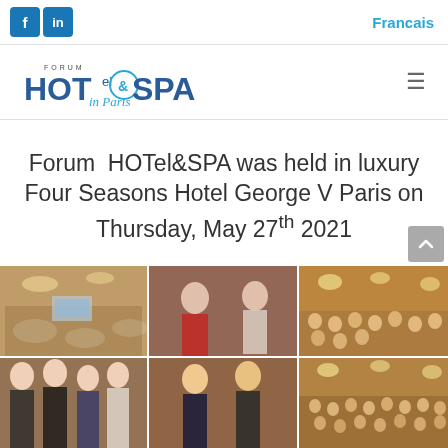f  in  |  Francais
[Figure (logo): Forum HOTel&SPA in Paris logo with stylized ampersand]
Forum  HOTel&SPA was held in luxury Four Seasons Hotel George V Paris on Thursday, May 27th 2021
[Figure (photo): Collage of 6 photos from the Forum HOTel&SPA event at Four Seasons Hotel George V Paris, showing attendees at round tables, people socializing, and the event hall.]